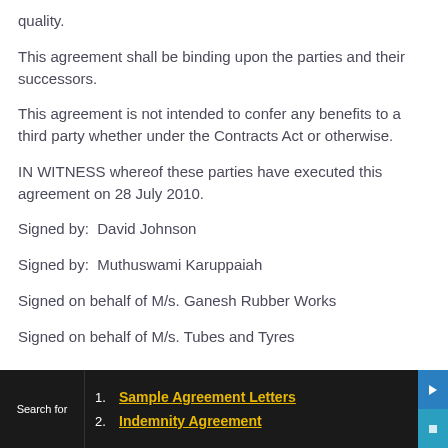quality.
This agreement shall be binding upon the parties and their successors.
This agreement is not intended to confer any benefits to a third party whether under the Contracts Act or otherwise.
IN WITNESS whereof these parties have executed this agreement on 28 July 2010.
Signed by:  David Johnson
Signed by:  Muthuswami Karuppaiah
Signed on behalf of M/s. Ganesh Rubber Works
Signed on behalf of M/s. Tubes and Tyres
Search for  1. Sample Agreement Letters  2. Indemnity Agreement